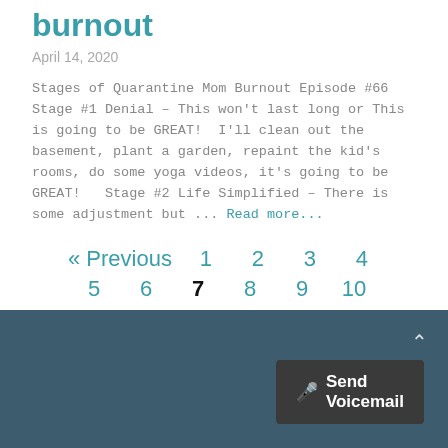burnout
April 14, 2020
Stages of Quarantine Mom Burnout Episode #66 Stage #1 Denial – This won't last long or This is going to be GREAT!  I'll clean out the basement, plant a garden, repaint the kid's rooms, do some yoga videos, it's going to be GREAT!   Stage #2 Life Simplified – There is some adjustment but … Read more…
« Previous  1  2  3  4  5  6  7  8  9  10  Next »
Send Voicemail